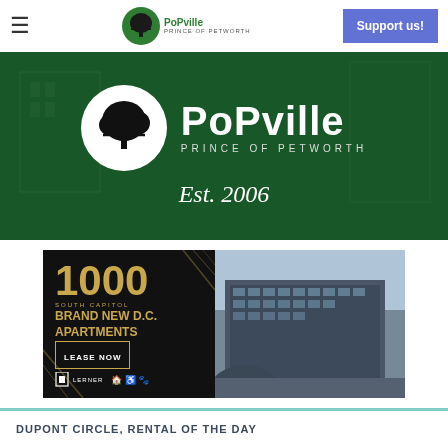☰  PoPville – Prince of Petworth  |  Support us!
[Figure (illustration): PoPville / Prince of Petworth website hero banner with logo (tree in white circle), PoPville wordmark, 'PRINCE OF PETWORTH' subtitle, and 'Est. 2006' in italic text, on dark green background]
[Figure (photo): Advertisement for 1000 South Capitol – Brand New D.C. Apartments, Lease Now. Left side dark with gold text, right side aerial photo of modern apartment building. Lerner logo bottom left.]
DUPONT CIRCLE, RENTAL OF THE DAY
Today's Rental was chosen for the